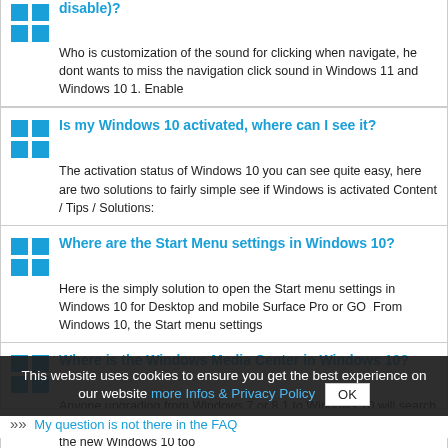disable)? Who is customization of the sound for clicking when navigate, he dont wants to miss the navigation click sound in Windows 11 and Windows 10 1. Enable
Is my Windows 10 activated, where can I see it? The activation status of Windows 10 you can see quite easy, here are two solutions to fairly simple see if Windows is activated Content / Tips / Solutions:
Where are the Start Menu settings in Windows 10? Here is the simply solution to open the Start menu settings in Windows 10 for Desktop and mobile Surface Pro or GO  From Windows 10, the Start menu settings
Where is the Windows Media Center in Windows 10? Anyone upgrading from Windows 7 or 8.1 to Windows 10 will search in vain for Windows Media Center So be careful if you upgrade to the new Windows 10 too
Can I install Windows-10 from the USB stick, if so, how to? There are many laptops and notebooks without DVD drive Here is the solution how to install Windows 10 or 8.1 from a USB flash drive Content / Solutions:
»» My question is not there in the FAQ
This website uses cookies to ensure you get the best experience on our website more Infos & Privacy Policy OK
...